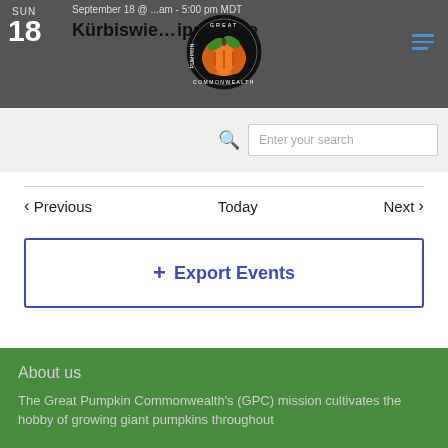SUN 18  September 18 @ ... am - 5:00 pm MDT  Kürbiswie...ipspringe
[Figure (logo): Great Pumpkin Commonwealth circular logo with orange pumpkin on black background]
Enter your search
< Previous   Today   Next >
+ Export Events
About us
The Great Pumpkin Commonwealth's (GPC) mission cultivates the hobby of growing giant pumpkins throughout